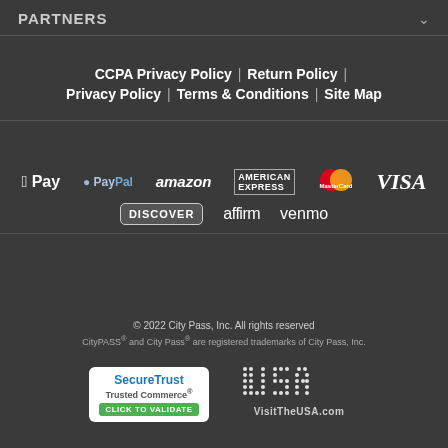PARTNERS
CCPA Privacy Policy | Return Policy | Privacy Policy | Terms & Conditions | Site Map
[Figure (logo): Payment method logos: Apple Pay, PayPal, Amazon, American Express, MasterCard, VISA, Discover, affirm, venmo]
© 2022 City Pass, Inc. All rights reserved
CityPASS® and City Pass® are registered trademarks of City Pass, Inc.
[Figure (logo): SecureTrust Trusted Commerce CLICK TO VALIDATE badge]
[Figure (logo): VisitTheUSA.com logo with dot-matrix USA text]